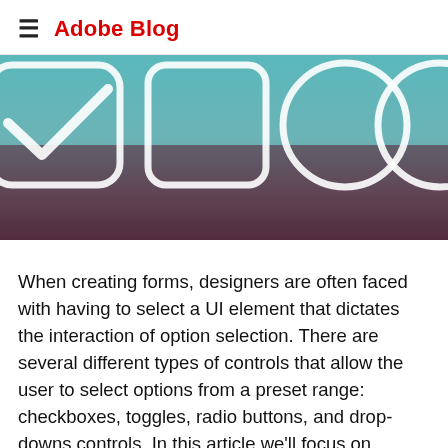Adobe Blog
[Figure (illustration): Hero banner image showing UI form control icons (checkbox, toggle, radio button) rendered as large white outlined shapes on a teal-to-purple gradient background. The image is cropped, showing partial icons.]
When creating forms, designers are often faced with having to select a UI element that dictates the interaction of option selection. There are several different types of controls that allow the user to select options from a preset range: checkboxes, toggles, radio buttons, and drop-downs controls. In this article we'll focus on